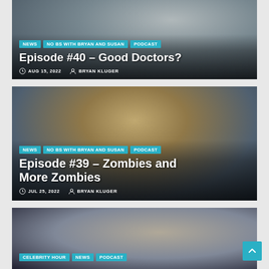[Figure (photo): Card 1: Photo of a man in a white shirt, dark background. Overlay shows tags NEWS, NO BS WITH BRYAN AND SUSAN, PODCAST, title 'Episode #40 – Good Doctors?', date AUG 15, 2022, author BRYAN KLUGER.]
[Figure (photo): Card 2: Photo of an older man with disheveled hair outdoors, cloudy sky background, another figure behind him. Overlay shows tags NEWS, NO BS WITH BRYAN AND SUSAN, PODCAST, title 'Episode #39 – Zombies and More Zombies', date JUL 25, 2022, author BRYAN KLUGER.]
[Figure (photo): Card 3: Photo of a young man with curly dark hair, Netflix 'Team Kcatcher' poster visible in background. Partial overlay shows tags CELEBRITY HOUR, NEWS, PODCAST.]